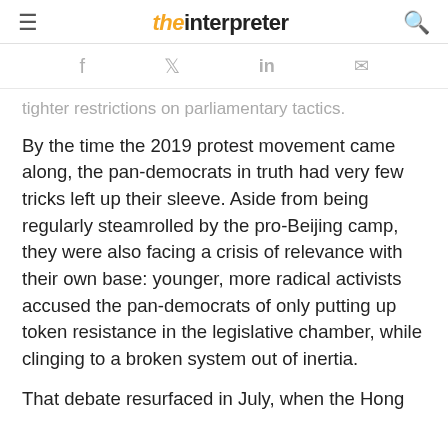the interpreter
tighter restrictions on parliamentary tactics.
By the time the 2019 protest movement came along, the pan-democrats in truth had very few tricks left up their sleeve. Aside from being regularly steamrolled by the pro-Beijing camp, they were also facing a crisis of relevance with their own base: younger, more radical activists accused the pan-democrats of only putting up token resistance in the legislative chamber, while clinging to a broken system out of inertia.
That debate resurfaced in July, when the Hong